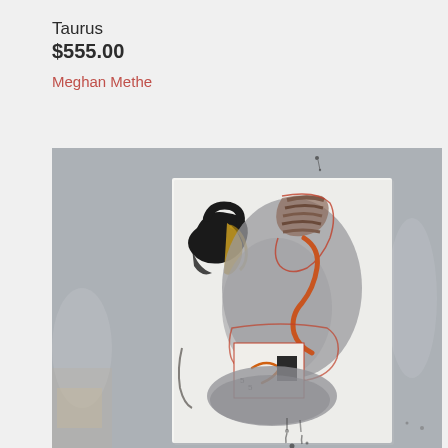Taurus
$555.00
Meghan Methe
[Figure (photo): A photograph of an abstract mixed-media artwork titled 'Taurus' by Meghan Methe. The artwork is displayed on a white canvas/paper leaning against a grey concrete or metal wall. The painting features abstract forms with black gestural brushstrokes, yellow/golden marks, rust-orange sinuous lines, grey washes, and a small white rectangle with orange details in the lower portion. The background wall shows a mottled grey surface with some peeling or staining.]